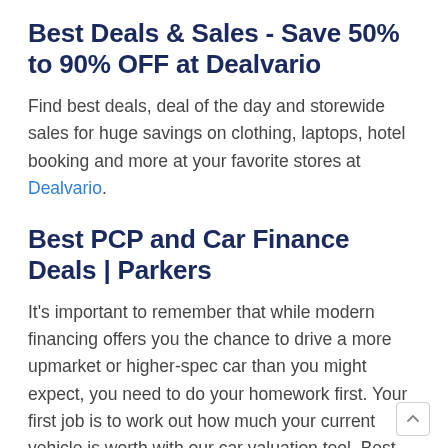Best Deals & Sales - Save 50% to 90% OFF at Dealvario
Find best deals, deal of the day and storewide sales for huge savings on clothing, laptops, hotel booking and more at your favorite stores at Dealvario.
Best PCP and Car Finance Deals | Parkers
It's important to remember that while modern financing offers you the chance to drive a more upmarket or higher-spec car than you might expect, you need to do your homework first. Your first job is to work out how much your current vehicle is worth with our car valuation tool. Best PCH deals PCH